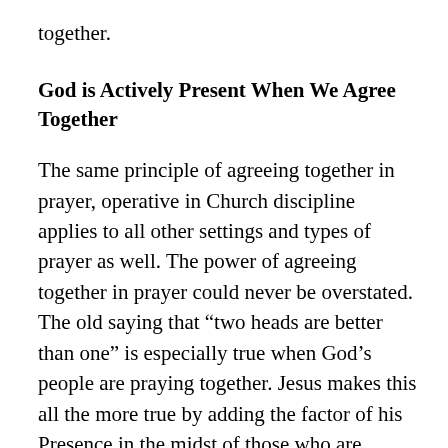together.
God is Actively Present When We Agree Together
The same principle of agreeing together in prayer, operative in Church discipline applies to all other settings and types of prayer as well. The power of agreeing together in prayer could never be overstated. The old saying that “two heads are better than one” is especially true when God’s people are praying together. Jesus makes this all the more true by adding the factor of his Presence in the midst of those who are